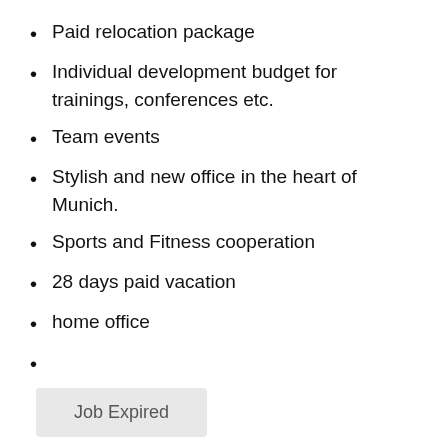Paid relocation package
Individual development budget for trainings, conferences etc.
Team events
Stylish and new office in the heart of Munich.
Sports and Fitness cooperation
28 days paid vacation
home office
Job Expired